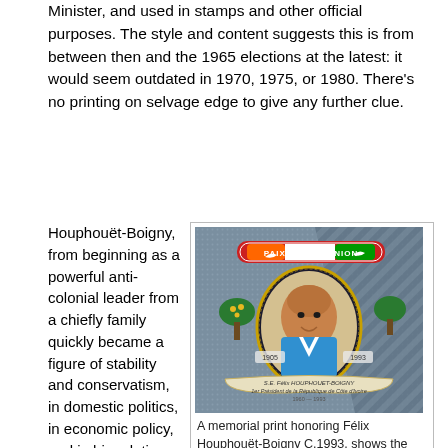Minister, and used in stamps and other official purposes. The style and content suggests this is from between then and the 1965 elections at the latest: it would seem outdated in 1970, 1975, or 1980. There's no printing on selvage edge to give any further clue.
Houphouët-Boigny, from beginning as a powerful anti-colonial leader from a chiefly family quickly became a figure of stability and conservatism, in domestic politics, in economic policy, and in his relations with former colonial power France and the Cold War West more broadly. The Rassemblement Démocratique Africain, an umbrella of the most popular pro-independence parties in the f...
[Figure (photo): A memorial print (fabric/textile) honoring Félix Houphouët-Boigny, showing a portrait of him in a blue suit in an oval medallion, flanked by trees and doves, with text 'PAIX-AMOUR-UNION' on a banner, dates 1905 and 1993, and text 'S.E. Félix HOUPHOUET-BOIGNY, 1er Président de la République de Côte d'Ivoire, 1960-1993']
A memorial print honoring Félix Houphouët-Boigny C.1993, shows the contrast of later